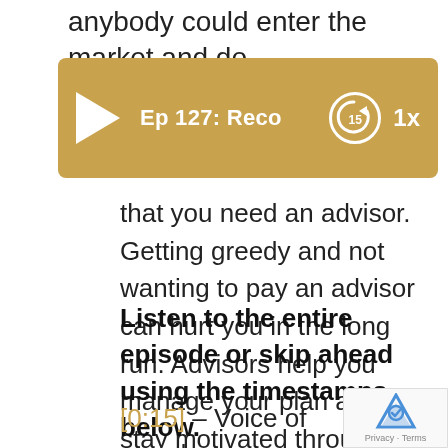anybody could enter the market and do
[Figure (screenshot): Podcast audio player bar with play button, episode title 'Ep 127: Reco', rewind 15 seconds button, and 1x speed button on a golden/tan background]
that you need an advisor. Getting greedy and not wanting to pay an advisor can hurt you in the long run. Advisors help you manage your plan and stay motivated throughout the ups and downs.
Listen to the entire episode or skip ahead using the timestamps below.
[0:15] – Voice of greed